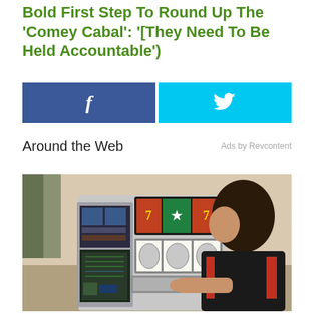Bold First Step To Round Up The 'Comey Cabal': '[They Need To Be Held Accountable')
[Figure (other): Facebook share button (blue) and Twitter share button (cyan) side by side]
Around the Web
Ads by Revcontent
[Figure (photo): A woman with dark hair wearing a black and red jacket looks at an open slot machine with its internal mechanics visible, including reels, circuit boards, and display panels.]